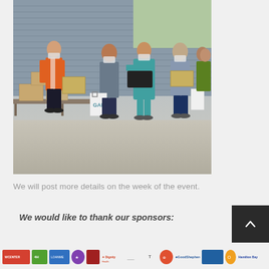[Figure (photo): Outdoor food distribution event. A volunteer in an orange vest hands a cardboard box to a woman holding a GAP shopping bag. Several other people wearing masks are visible, including a woman in a teal dress carrying a box and a crate, and other volunteers in the background. Stacked boxes and a metal building wall are visible behind them.]
We will post more details on the week of the event.
We would like to thank our sponsors:
[Figure (logo): Row of sponsor logos at the bottom of the page including various nonprofit and corporate sponsors such as Dignity Health, Good Shepherd, and others.]